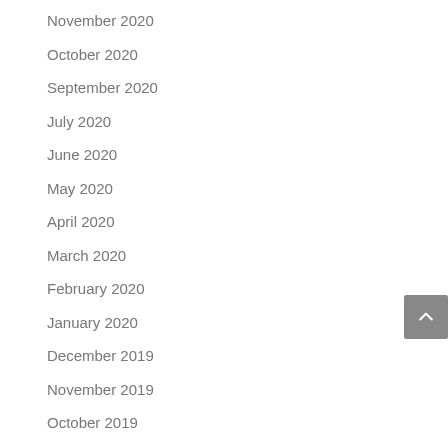November 2020
October 2020
September 2020
July 2020
June 2020
May 2020
April 2020
March 2020
February 2020
January 2020
December 2019
November 2019
October 2019
September 2019
August 2019